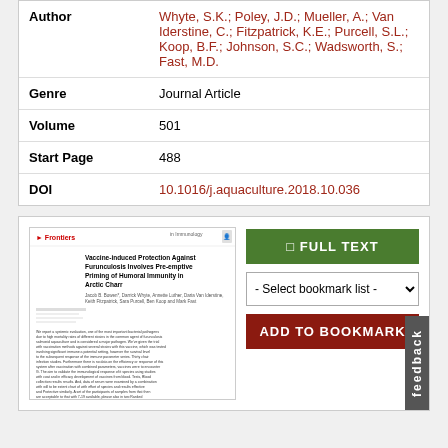| Field | Value |
| --- | --- |
| Author | Whyte, S.K.; Poley, J.D.; Mueller, A.; Van Iderstine, C.; Fitzpatrick, K.E.; Purcell, S.L.; Koop, B.F.; Johnson, S.C.; Wadsworth, S.; Fast, M.D. |
| Genre | Journal Article |
| Volume | 501 |
| Start Page | 488 |
| DOI | 10.1016/j.aquaculture.2018.10.036 |
[Figure (screenshot): Thumbnail preview of journal article titled 'Vaccine-induced Protection Against Furunculosis Involves Pre-emptive Priming of Humoral Immunity in Arctic Charr' with Frontiers logo and article text visible]
FULL TEXT
- Select bookmark list -
ADD TO BOOKMARK